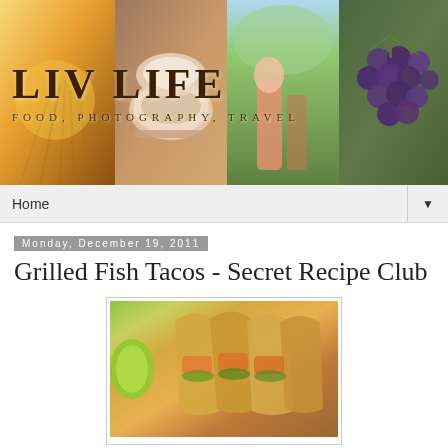[Figure (photo): Blog header banner collage showing LIV LIFE blog with tagline FOOD, PHOTOGRAPHY, TRAVEL. Collage includes golden hour flowers, tea cups, outdoor woman, and grape vineyard panels.]
Home ▼
Monday, December 19, 2011
Grilled Fish Tacos - Secret Recipe Club
[Figure (photo): Close-up photo of grilled fish tacos with lime wedge, showing multiple corn tortillas filled with grilled fish and toppings.]